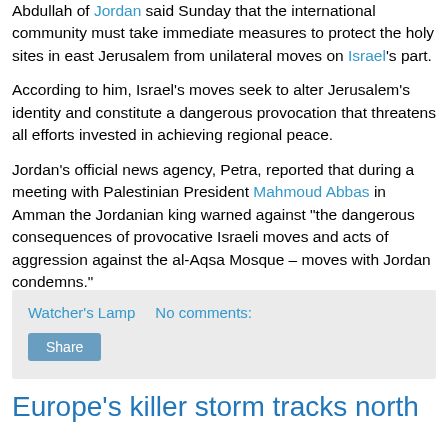Abdullah of Jordan said Sunday that the international community must take immediate measures to protect the holy sites in east Jerusalem from unilateral moves on Israel's part.
According to him, Israel's moves seek to alter Jerusalem's identity and constitute a dangerous provocation that threatens all efforts invested in achieving regional peace.
Jordan's official news agency, Petra, reported that during a meeting with Palestinian President Mahmoud Abbas in Amman the Jordanian king warned against "the dangerous consequences of provocative Israeli moves and acts of aggression against the al-Aqsa Mosque – moves with Jordan condemns."
Watcher's Lamp   No comments:
Share
Europe's killer storm tracks north